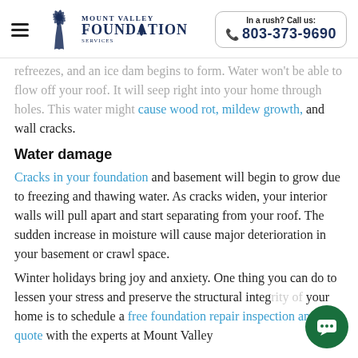Mount Valley Foundation Services | In a rush? Call us: 803-373-9690
refreezes, and an ice dam begins to form. Water won't be able to flow off your roof. It will seep right into your home through holes. This water might cause wood rot, mildew growth, and wall cracks.
Water damage
Cracks in your foundation and basement will begin to grow due to freezing and thawing water. As cracks widen, your interior walls will pull apart and start separating from your roof. The sudden increase in moisture will cause major deterioration in your basement or crawl space.
Winter holidays bring joy and anxiety. One thing you can do to lessen your stress and preserve the structural integrity of your home is to schedule a free foundation repair inspection and quote with the experts at Mount Valley